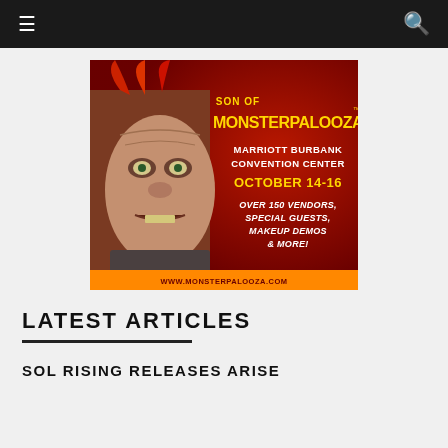≡  🔍
[Figure (illustration): Son of Monsterpalooza advertisement banner. Shows a horrifying monster creature face on the left with text on the right: 'SON OF MONSTERPALOOZA', 'MARRIOTT BURBANK CONVENTION CENTER', 'OCTOBER 14-16', 'OVER 150 VENDORS, SPECIAL GUESTS, MAKEUP DEMOS & MORE!', 'WWW.MONSTERPALOOZA.COM'. Dark red background.]
LATEST ARTICLES
SOL RISING RELEASES ARISE